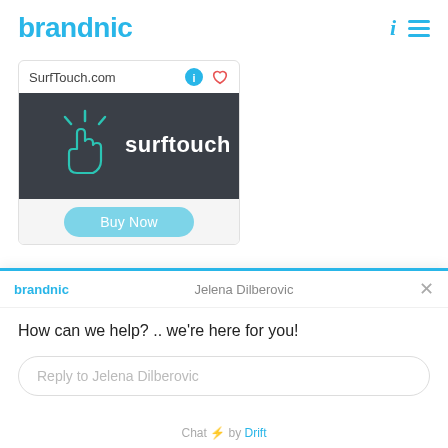brandnic
[Figure (screenshot): Domain card for SurfTouch.com showing the surftouch logo on dark background with a Buy Now button]
SurfTouch.com
Buy Now
brandnic
Jelena Dilberovic
How can we help? .. we're here for you!
Reply to Jelena Dilberovic
Chat ⚡ by Drift